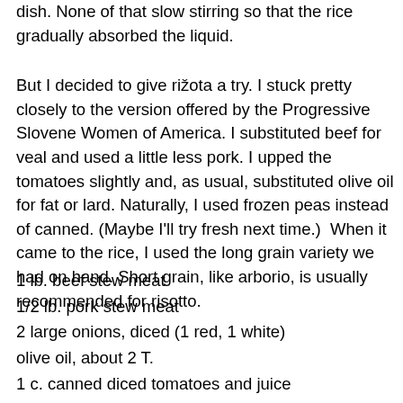dish.  None of that slow stirring so that the rice gradually absorbed the liquid.
But I decided to give rižota a try.  I stuck pretty closely to the version offered by the Progressive Slovene Women of America.  I substituted beef for veal and used a little less pork.  I upped the tomatoes slightly and, as usual, substituted olive oil for fat or lard. Naturally, I used frozen peas instead of canned.  (Maybe I'll try fresh next time.)  When it came to the rice, I used the long grain variety we had on hand.  Short grain, like arborio, is usually recommended for risotto.
1 lb. beef stew meat
1/2 lb. pork stew meat
2 large onions, diced (1 red, 1 white)
olive oil, about 2 T.
1 c. canned diced tomatoes and juice
8 oz fresh mushrooms, white and crimini, sliced
salt and pepper to taste
water as needed